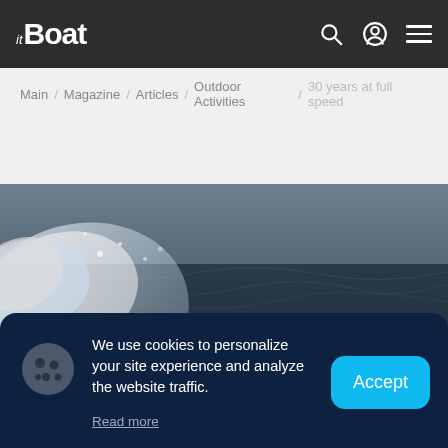it Boat
Main / Magazine / Articles / Outdoor Activities / 30 years at full speed
[Figure (photo): A powerboat racing at high speed on the water, creating large spray, with a helmeted driver visible in the cockpit. The boat is red and dark colored, and the background shows dark choppy water and white spray.]
We use cookies to personalize your site experience and analyze the website traffic. Read more